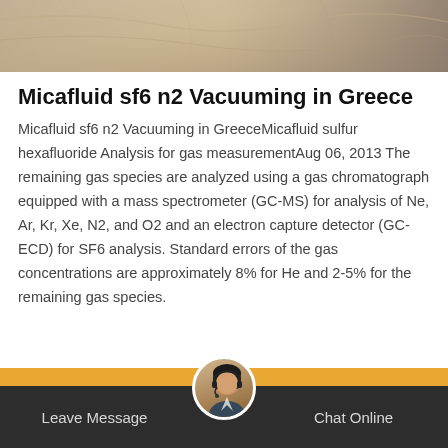[Figure (photo): Partial photo banner showing fabric or soft material in beige/tan tones at the top of the page]
Micafluid sf6 n2 Vacuuming in Greece
Micafluid sf6 n2 Vacuuming in GreeceMicafluid sulfur hexafluoride Analysis for gas measurementAug 06, 2013 The remaining gas species are analyzed using a gas chromatograph equipped with a mass spectrometer (GC-MS) for analysis of Ne, Ar, Kr, Xe, N2, and O2 and an electron capture detector (GC-ECD) for SF6 analysis. Standard errors of the gas concentrations are approximately 8% for He and 2-5% for the remaining gas species.
[Figure (other): Orange 'Get Price' button]
Leave Message   Chat Online